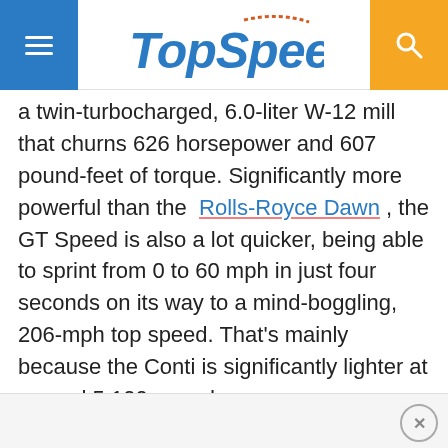TopSpeed
a twin-turbocharged, 6.0-liter W-12 mill that churns 626 horsepower and 607 pound-feet of torque. Significantly more powerful than the Rolls-Royce Dawn , the GT Speed is also a lot quicker, being able to sprint from 0 to 60 mph in just four seconds on its way to a mind-boggling, 206-mph top speed. That's mainly because the Conti is significantly lighter at around 5,100 pounds.